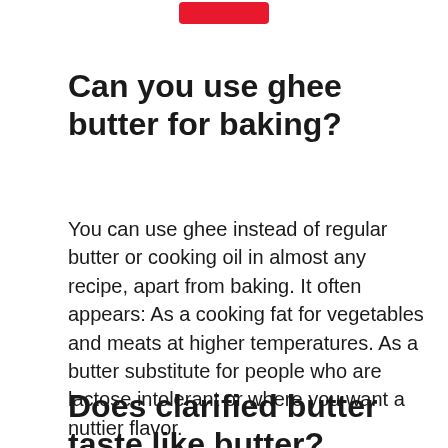[Figure (logo): Red rounded rectangle logo bar at top center]
Can you use ghee butter for baking?
You can use ghee instead of regular butter or cooking oil in almost any recipe, apart from baking. It often appears: As a cooking fat for vegetables and meats at higher temperatures. As a butter substitute for people who are lactose intolerant or where you want a nuttier flavor.
Does clarified butter taste like butter?